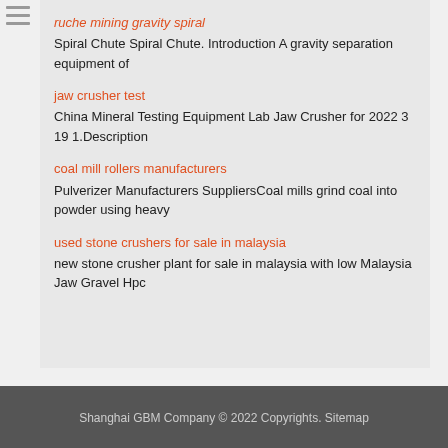ruche mining gravity spiral
Spiral Chute Spiral Chute. Introduction A gravity separation equipment of
jaw crusher test
China Mineral Testing Equipment Lab Jaw Crusher for 2022 3 19 1.Description
coal mill rollers manufacturers
Pulverizer Manufacturers SuppliersCoal mills grind coal into powder using heavy
used stone crushers for sale in malaysia
new stone crusher plant for sale in malaysia with low Malaysia Jaw Gravel Hpc
Shanghai GBM Company © 2022 Copyrights. Sitemap